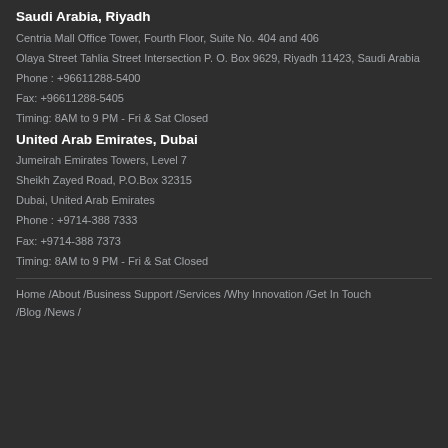Saudi Arabia, Riyadh
Centria Mall Office Tower, Fourth Floor, Suite No. 404 and 406
Olaya Street Tahlia Street Intersection P. O. Box 9629, Riyadh 11423, Saudi Arabia
Phone : +96611288-5400
Fax: +96611288-5405
Timing: 8AM to 9 PM - Fri & Sat Closed
United Arab Emirates, Dubai
Jumeirah Emirates Towers, Level 7
Sheikh Zayed Road, P.O.Box 32315
Dubai, United Arab Emirates
Phone : +9714-388 7333
Fax: +9714-388 7373
Timing: 8AM to 9 PM - Fri & Sat Closed
Home /About /Business Support /Services /Why Innovation /Get In Touch /Blog /News /